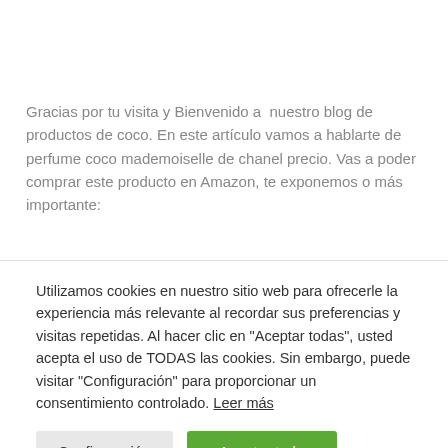Gracias por tu visita y Bienvenido a  nuestro blog de productos de coco. En este artículo vamos a hablarte de perfume coco mademoiselle de chanel precio. Vas a poder comprar este producto en Amazon, te exponemos o más importante:
Utilizamos cookies en nuestro sitio web para ofrecerle la experiencia más relevante al recordar sus preferencias y visitas repetidas. Al hacer clic en "Aceptar todas", usted acepta el uso de TODAS las cookies. Sin embargo, puede visitar "Configuración" para proporcionar un consentimiento controlado. Leer más